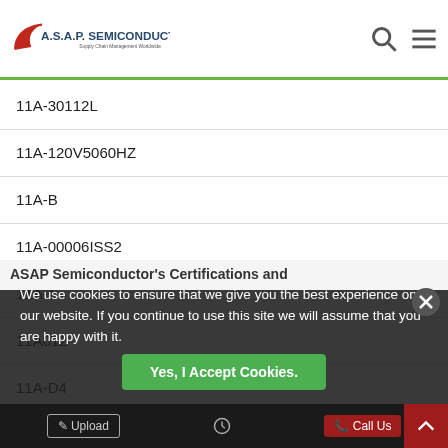A.S.A.P. Semiconductor — Supply Chain Management Worldwide
11A-30112L
11A-120V5060HZ
11A-B
11A-00006ISS2
11A-1
11A012
11A-D4
11A-1791A
11A-120V
ASAP Semiconductor's Certifications and Memberships
We use cookies to ensure that we give you the best experience on our website. If you continue to use this site we will assume that you are happy with it.
Yes, I Accept Cookies.